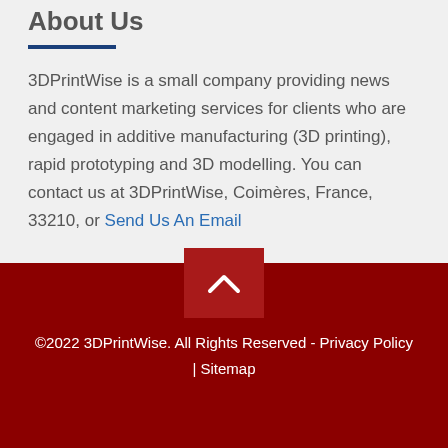About Us
3DPrintWise is a small company providing news and content marketing services for clients who are engaged in additive manufacturing (3D printing), rapid prototyping and 3D modelling. You can contact us at 3DPrintWise, Coimères, France, 33210, or Send Us An Email
©2022 3DPrintWise. All Rights Reserved - Privacy Policy | Sitemap